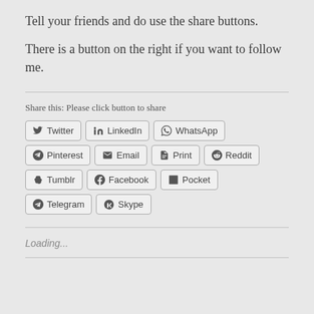Tell your friends and do use the share buttons.
There is a button on the right if you want to follow me.
Share this: Please click button to share
[Figure (other): Social share buttons: Twitter, LinkedIn, WhatsApp, Pinterest, Email, Print, Reddit, Tumblr, Facebook, Pocket, Telegram, Skype]
Loading...